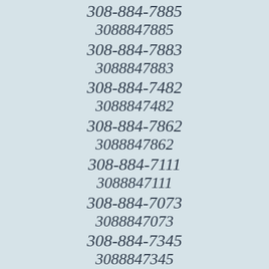308-884-7885
3088847885
308-884-7883
3088847883
308-884-7482
3088847482
308-884-7862
3088847862
308-884-7111
3088847111
308-884-7073
3088847073
308-884-7345
3088847345
308-884-7503
3088847503